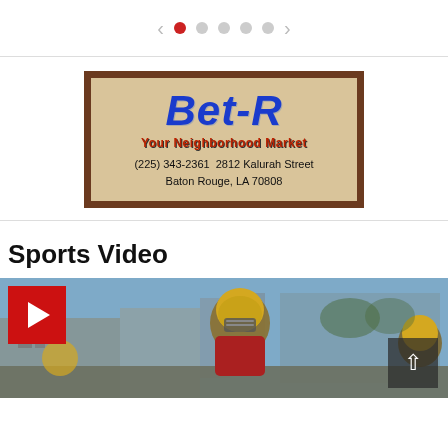[Figure (other): Carousel navigation with left/right arrows and 5 dot indicators, first dot active (red)]
[Figure (other): Bet-R Your Neighborhood Market advertisement banner. Brown border, tan background, blue cursive Bet-R logo, red tagline 'Your Neighborhood Market', address: (225) 343-2361 2812 Kalurah Street, Baton Rouge, LA 70808]
Sports Video
[Figure (photo): Sports video thumbnail showing football players in gold helmets on a field with a red play button overlay in the top left and a scroll-up button overlay in the bottom right]